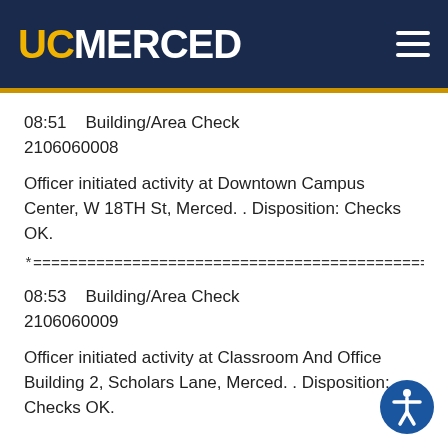UC MERCED
08:51    Building/Area Check
2106060008
Officer initiated activity at Downtown Campus Center, W 18TH St, Merced. . Disposition: Checks OK.
*=======================================================
08:53    Building/Area Check
2106060009
Officer initiated activity at Classroom And Office Building 2, Scholars Lane, Merced. . Disposition: Checks OK.